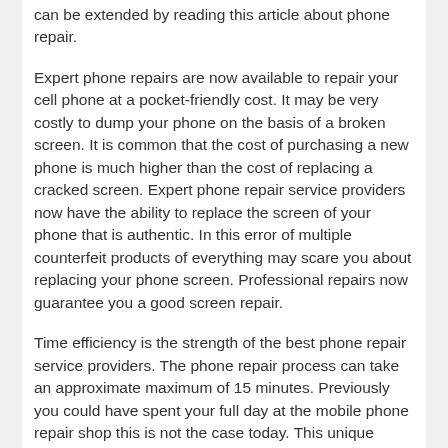can be extended by reading this article about phone repair.
Expert phone repairs are now available to repair your cell phone at a pocket-friendly cost. It may be very costly to dump your phone on the basis of a broken screen. It is common that the cost of purchasing a new phone is much higher than the cost of replacing a cracked screen. Expert phone repair service providers now have the ability to replace the screen of your phone that is authentic. In this error of multiple counterfeit products of everything may scare you about replacing your phone screen. Professional repairs now guarantee you a good screen repair.
Time efficiency is the strength of the best phone repair service providers. The phone repair process can take an approximate maximum of 15 minutes. Previously you could have spent your full day at the mobile phone repair shop this is not the case today. This unique potential cares for your time and then you just have to